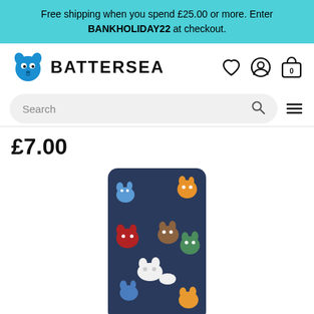Free shipping when you spend £25.00 or more. Enter BANKHOLIDAY22 at checkout.
[Figure (logo): Battersea Dogs & Cats Home logo with blue dog mascot and bold text BATTERSEA]
£7.00
[Figure (photo): Navy blue sock with colorful cat illustrations in red, orange, yellow, green, blue, white, and brown]